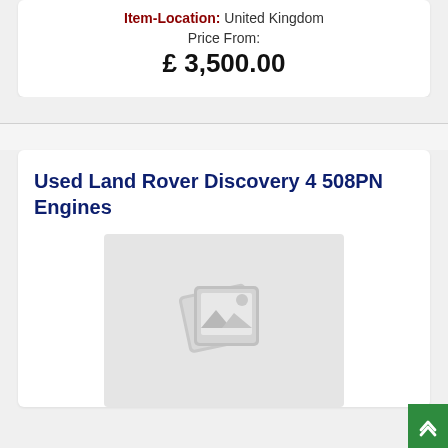Item-Location: United Kingdom
Price From:
£ 3,500.00
Used Land Rover Discovery 4 508PN Engines
[Figure (photo): Placeholder image icon for product with no photo available — grey background with a stylized image/photo icon in lighter grey]